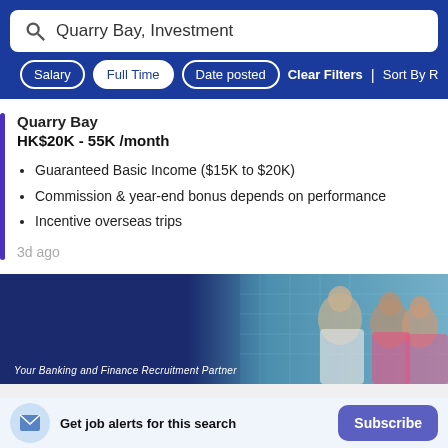Quarry Bay, Investment
Salary | Full Time | Date posted | Clear Filters | Sort By Rele…
Quarry Bay
HK$20K - 55K /month
Guaranteed Basic Income ($15K to $20K)
Commission & year-end bonus depends on performance
Incentive overseas trips
3d ago
[Figure (photo): Company banner showing 'Your Banking and Finance Recruitment Partner' with people in background]
Get job alerts for this search
Subscribe